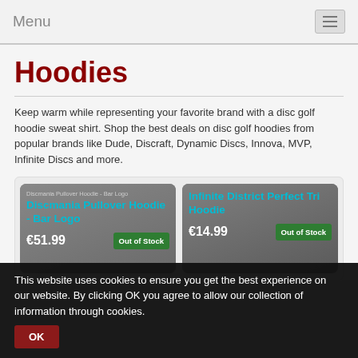Menu
Hoodies
Keep warm while representing your favorite brand with a disc golf hoodie sweat shirt. Shop the best deals on disc golf hoodies from popular brands like Dude, Discraft, Dynamic Discs, Innova, MVP, Infinite Discs and more.
[Figure (screenshot): Product card for Discmania Pullover Hoodie - Bar Logo, priced at €51.99, Out of Stock]
[Figure (screenshot): Product card for Infinite District Perfect Tri Hoodie, priced at €14.99, Out of Stock]
This website uses cookies to ensure you get the best experience on our website. By clicking OK you agree to allow our collection of information through cookies.